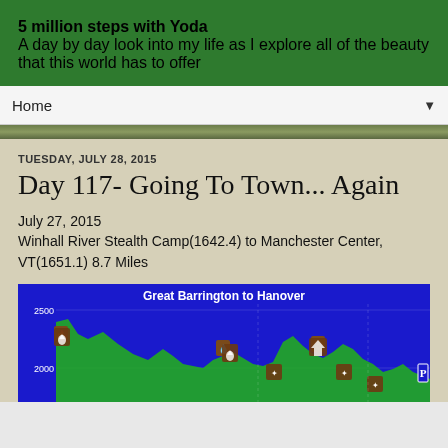5 million steps with Yoda
A day by day look into my life as I explore all of the beauty that this world has to offer
Home
TUESDAY, JULY 28, 2015
Day 117- Going To Town... Again
July 27, 2015
Winhall River Stealth Camp(1642.4) to Manchester Center, VT(1651.1) 8.7 Miles
[Figure (continuous-plot): Elevation profile chart titled 'Great Barrington to Hanover' showing elevation around 2000-2500 ft with green filled area chart on blue background, with trail waypoint icons along the route]